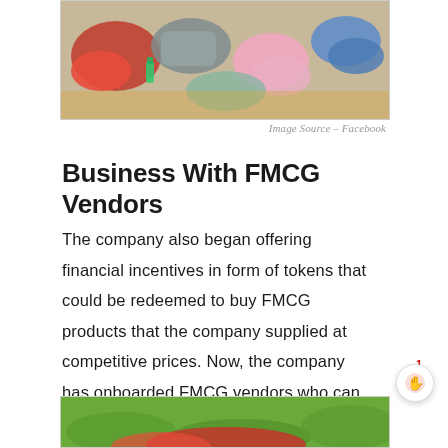[Figure (photo): Top portion of a photo showing colorful clothing items laid out on the ground]
Image Source – Facebook
Business With FMCG Vendors
The company also began offering financial incentives in form of tokens that could be redeemed to buy FMCG products that the company supplied at competitive prices. Now, the company has onboarded FMCG vendors who can do business directly with the hotel owners by paying a commission to Ecowrap.
[Figure (photo): Bottom portion showing the start of another photo with green grass and red clothing visible]